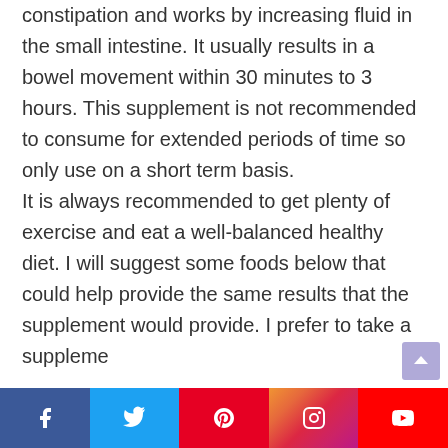constipation and works by increasing fluid in the small intestine. It usually results in a bowel movement within 30 minutes to 3 hours. This supplement is not recommended to consume for extended periods of time so only use on a short term basis.

It is always recommended to get plenty of exercise and eat a well-balanced healthy diet. I will suggest some foods below that could help provide the same results that the supplement would provide. I prefer to take a suppleme